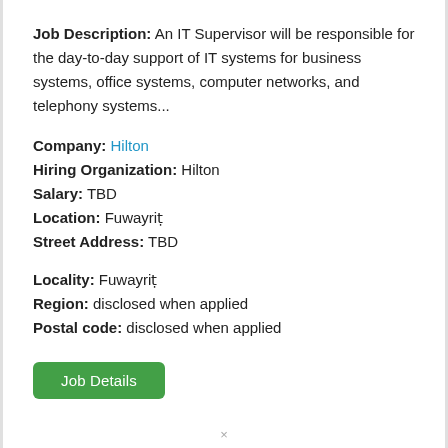Job Description: An IT Supervisor will be responsible for the day-to-day support of IT systems for business systems, office systems, computer networks, and telephony systems...
Company: Hilton
Hiring Organization: Hilton
Salary: TBD
Location: Fuwayrit
Street Address: TBD
Locality: Fuwayrit
Region: disclosed when applied
Postal code: disclosed when applied
Job Details